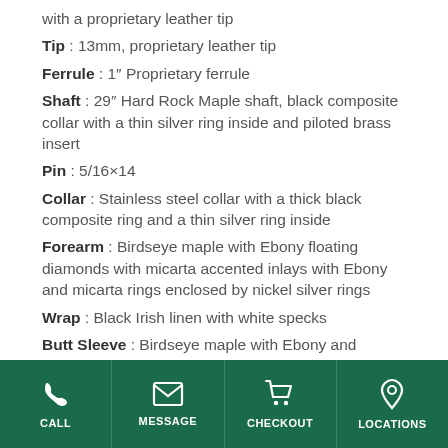with a proprietary leather tip
Tip : 13mm, proprietary leather tip
Ferrule : 1" Proprietary ferrule
Shaft : 29" Hard Rock Maple shaft, black composite collar with a thin silver ring inside and piloted brass insert
Pin : 5/16×14
Collar : Stainless steel collar with a thick black composite ring and a thin silver ring inside
Forearm : Birdseye maple with Ebony floating diamonds with micarta accented inlays with Ebony and micarta rings enclosed by nickel silver rings
Wrap : Black Irish linen with white specks
Butt Sleeve : Birdseye maple with Ebony and
CALL  MESSAGE  CHECKOUT  LOCATIONS